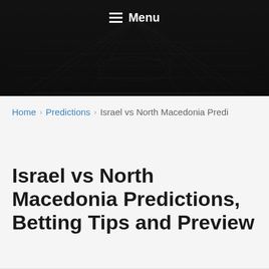Menu
[Figure (photo): Dark aerial/overhead view of a football stadium at night used as a header background image]
Home > Predictions > Israel vs North Macedonia Predi
Israel vs North Macedonia Predictions, Betting Tips and Preview